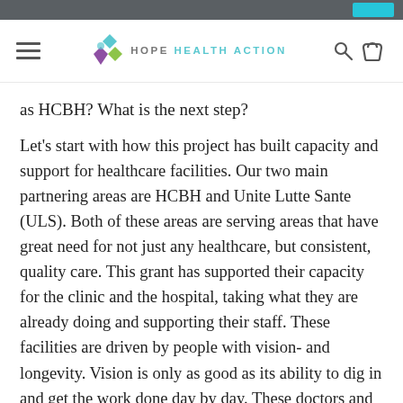Hope Health Action navigation bar
as HCBH? What is the next step?
Let's start with how this project has built capacity and support for healthcare facilities. Our two main partnering areas are HCBH and Unite Lutte Sante (ULS). Both of these areas are serving areas that have great need for not just any healthcare, but consistent, quality care. This grant has supported their capacity for the clinic and the hospital, taking what they are already doing and supporting their staff. These facilities are driven by people with vision- and longevity. Vision is only as good as its ability to dig in and get the work done day by day. These doctors and administrators have committed for the longterm. They are making advances in a difficult